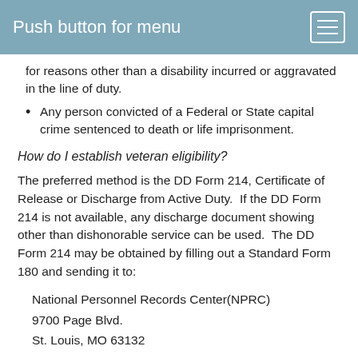Push button for menu
for reasons other than a disability incurred or aggravated in the line of duty.
Any person convicted of a Federal or State capital crime sentenced to death or life imprisonment.
How do I establish veteran eligibility?
The preferred method is the DD Form 214, Certificate of Release or Discharge from Active Duty.  If the DD Form 214 is not available, any discharge document showing other than dishonorable service can be used.  The DD Form 214 may be obtained by filling out a Standard Form 180 and sending it to:
National Personnel Records Center(NPRC)
9700 Page Blvd.
St. Louis, MO 63132